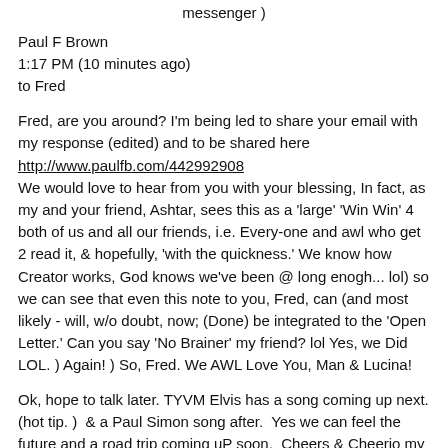messenger )
Paul F Brown
1:17 PM (10 minutes ago)
to Fred
Fred, are you around? I'm being led to share your email with my response (edited) and to be shared here http://www.paulfb.com/442992908 We would love to hear from you with your blessing, In fact, as my and your friend, Ashtar, sees this as a 'large' 'Win Win' 4 both of us and all our friends, i.e. Every-one and awl who get 2 read it, & hopefully, 'with the quickness.' We know how Creator works, God knows we've been @ long enogh... lol) so we can see that even this note to you, Fred, can (and most likely - will, w/o doubt, now; (Done) be integrated to the 'Open Letter.' Can you say 'No Brainer' my friend? lol Yes, we Did LOL. ) Again! ) So, Fred. We AWL Love You, Man & Lucina!
Ok, hope to talk later. TYVM Elvis has a song coming up next. (hot tip. )  & a Paul Simon song after.  Yes we can feel the future and a road trip coming uP soon.  Cheers & Cheerio my dear friend(s).  Stay happy... )